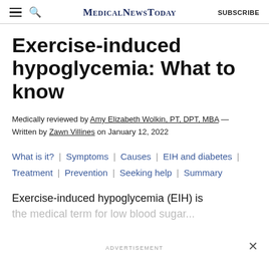MedicalNewsToday | SUBSCRIBE
Exercise-induced hypoglycemia: What to know
Medically reviewed by Amy Elizabeth Wolkin, PT, DPT, MBA — Written by Zawn Villines on January 12, 2022
What is it? | Symptoms | Causes | EIH and diabetes | Treatment | Prevention | Seeking help | Summary
Exercise-induced hypoglycemia (EIH) is the medical term for low blood sugar...
ADVERTISEMENT